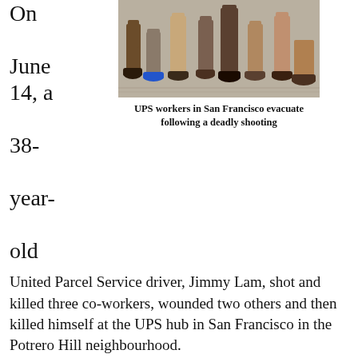On June 14, a 38-year-old
[Figure (photo): UPS workers' legs and feet visible as they evacuate on a sidewalk following a deadly shooting in San Francisco]
UPS workers in San Francisco evacuate following a deadly shooting
United Parcel Service driver, Jimmy Lam, shot and killed three co-workers, wounded two others and then killed himself at the UPS hub in San Francisco in the Potrero Hill neighbourhood.
This tragedy is obviously upsetting for those of us who work at UPS, along with our family and friends. But it doesn't come as a real surprise given the undue stress of the job.